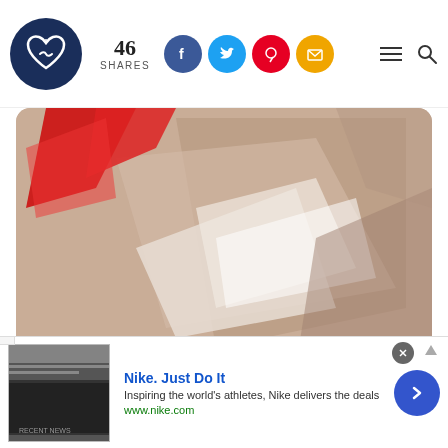46 SHARES — social share bar with Facebook, Twitter, Pinterest, Email icons
[Figure (illustration): Partial view of an illustrated image with a beige/tan background showing abstract geometric shapes and a red heart or angular red shape, with white angular forms, rounded rectangle border]
Capricorn, everything is a big deal to you. You don't spend any time on something that you wouldn't be proud to brag about once you reach the finish line. Whether your goals are big or small, you are very deliberate and
[Figure (screenshot): Nike advertisement banner: 'Nike. Just Do It' — Inspiring the world's athletes, Nike delivers the deals. www.nike.com. With a dark ad image thumbnail on the left and a blue arrow button on the right.]